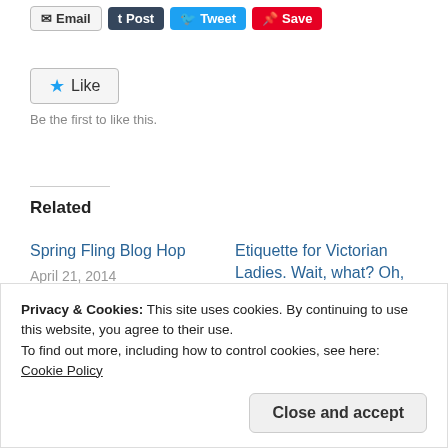[Figure (screenshot): Social share buttons: Email, Post (Tumblr), Tweet (Twitter), Save (Pinterest)]
[Figure (screenshot): Like button with star icon, followed by 'Be the first to like this.' text]
Be the first to like this.
Related
Spring Fling Blog Hop
April 21, 2014
In "Blog Hop"
Etiquette for Victorian Ladies. Wait, what? Oh, heck no.
January 25, 2018
In "Blog Post"
Privacy & Cookies: This site uses cookies. By continuing to use this website, you agree to their use.
To find out more, including how to control cookies, see here:
Cookie Policy
Close and accept